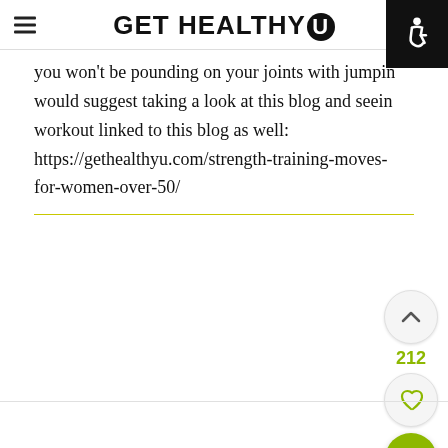GET HEALTHY U
you won't be pounding on your joints with jumping would suggest taking a look at this blog and seeing workout linked to this blog as well: https://gethealthyu.com/strength-training-moves-for-women-over-50/
[Figure (screenshot): Right sidebar with upvote button (chevron up), vote count 212, heart/like button, and green search button]
[Figure (screenshot): Accessibility icon badge in top right corner - white wheelchair symbol on black background]